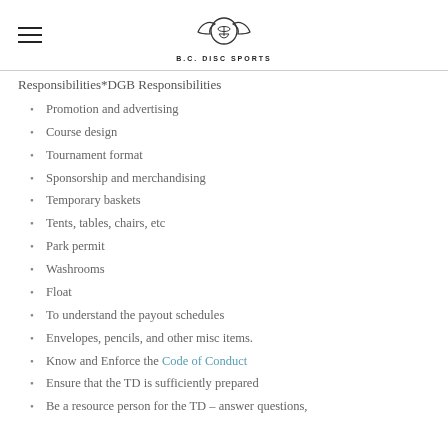B.C. DISC SPORTS
Responsibilities*DGB Responsibilities
Promotion and advertising
Course design
Tournament format
Sponsorship and merchandising
Temporary baskets
Tents, tables, chairs, etc
Park permit
Washrooms
Float
To understand the payout schedules
Envelopes, pencils, and other misc items.
Know and Enforce the Code of Conduct
Ensure that the TD is sufficiently prepared
Be a resource person for the TD – answer questions,